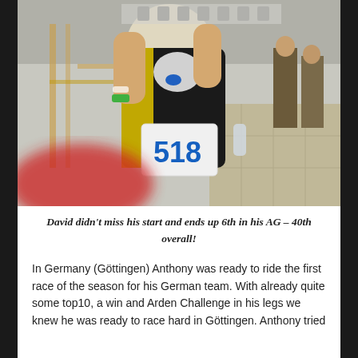[Figure (photo): A triathlete wearing race number 518, dressed in a yellow/black/white cycling kit, bending forward at an outdoor race event. Other people visible in the background including what appear to be security personnel. A red blurred object in the foreground.]
David didn't miss his start and ends up 6th in his AG – 40th overall!
In Germany (Göttingen) Anthony was ready to ride the first race of the season for his German team. With already quite some top10, a win and Arden Challenge in his legs we knew he was ready to race hard in Göttingen. Anthony tried